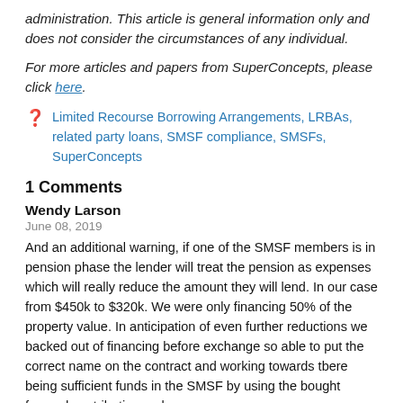administration. This article is general information only and does not consider the circumstances of any individual.
For more articles and papers from SuperConcepts, please click here.
Limited Recourse Borrowing Arrangements, LRBAs, related party loans, SMSF compliance, SMSFs, SuperConcepts
1 Comments
Wendy Larson
June 08, 2019
And an additional warning, if one of the SMSF members is in pension phase the lender will treat the pension as expenses which will really reduce the amount they will lend. In our case from $450k to $320k. We were only financing 50% of the property value. In anticipation of even further reductions we backed out of financing before exchange so able to put the correct name on the contract and working towards tbere being sufficient funds in the SMSF by using the bought forward contributions rules.